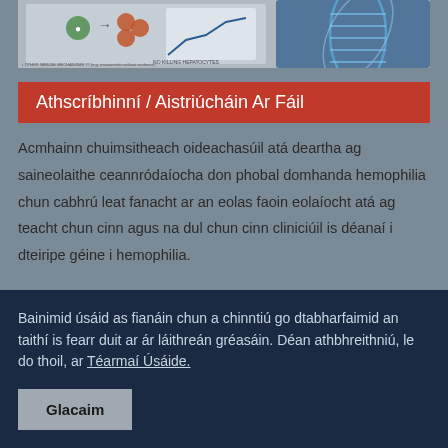[Figure (illustration): Scientific illustration showing immune mechanisms and hepatocyte killing related to hemophilia gene therapy, with diagrams and a DNA helix graphic on the right.]
Athscríbhinní / Aistriúcháin Ar Fáil
Acmhainn chuimsitheach oideachasúil atá deartha ag saineolaithe ceannródaíocha don phobal domhanda hemophilia chun cabhrú leat fanacht ar an eolas faoin eolaíocht atá ag teacht chun cinn agus na dul chun cinn cliniciúil is déanaí i dteiripe géine i hemophilia.
Bainimid úsáid as fianáin chun a chinntiú go dtabharfaimid an taithí is fearr duit ar ár láithreán gréasáin. Déan athbhreithniú, le do thoil, ar Téarmaí Úsáide.
Glacaim